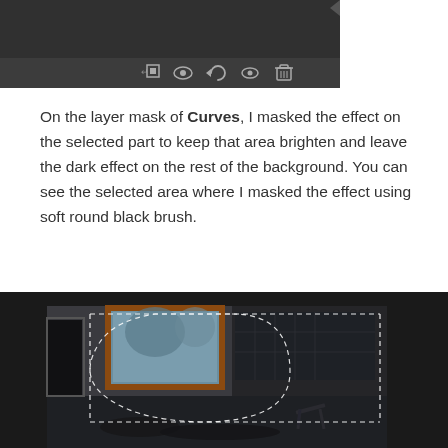[Figure (screenshot): Photoshop layer panel toolbar showing icons: add layer mask, visibility eye, history, pixel view, delete (trash) icons against dark background]
On the layer mask of Curves, I masked the effect on the selected part to keep that area brighten and leave the dark effect on the rest of the background. You can see the selected area where I masked the effect using soft round black brush.
[Figure (screenshot): Dark Photoshop canvas showing an abandoned room interior photograph with a dashed selection marquee around the left portion. The room has a window with orange wooden frame showing blue-grey trees outside, deteriorating walls, white tiles, debris on floor, and an overturned chair.]